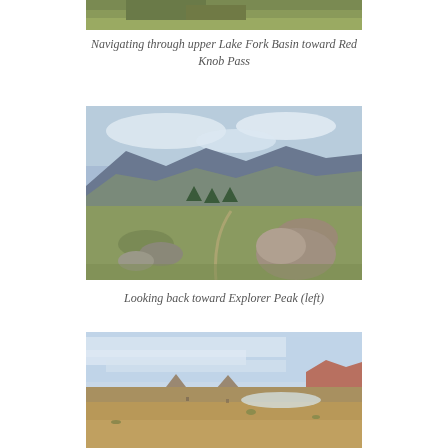[Figure (photo): Partial view of upper Lake Fork Basin mountain landscape, showing grassy and rocky alpine terrain]
Navigating through upper Lake Fork Basin toward Red Knob Pass
[Figure (photo): High alpine meadow with scattered boulders and a faint trail leading toward distant mountains under a partly cloudy sky, looking back toward Explorer Peak (left)]
Looking back toward Explorer Peak (left)
[Figure (photo): Wide open alpine basin with low flat terrain, distant buttes, and dramatic cloud-streaked sky, partially visible at bottom of page]